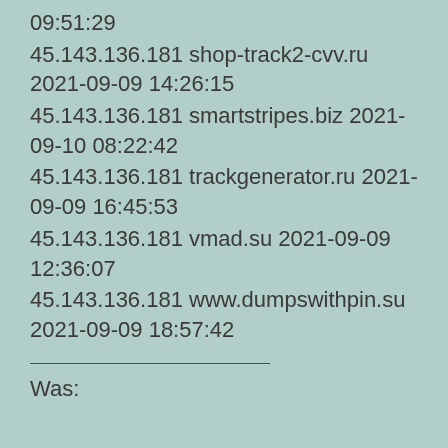09:51:29
45.143.136.181 shop-track2-cvv.ru 2021-09-09 14:26:15
45.143.136.181 smartstripes.biz 2021-09-10 08:22:42
45.143.136.181 trackgenerator.ru 2021-09-09 16:45:53
45.143.136.181 vmad.su 2021-09-09 12:36:07
45.143.136.181 www.dumpswithpin.su 2021-09-09 18:57:42
Was: